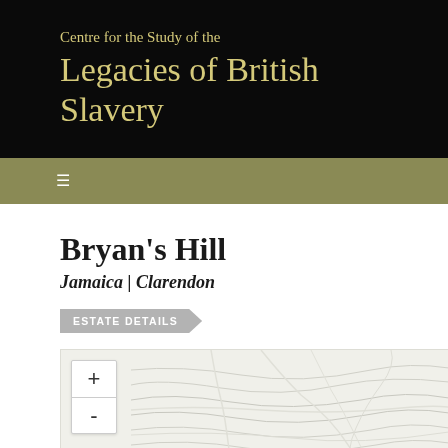Centre for the Study of the Legacies of British Slavery
[Figure (screenshot): Navigation bar with hamburger menu icon on olive/khaki background]
Bryan's Hill
Jamaica | Clarendon
ESTATE DETAILS
[Figure (map): Interactive map showing geographic area with contour lines and topographic features, with zoom in (+) and zoom out (-) controls]